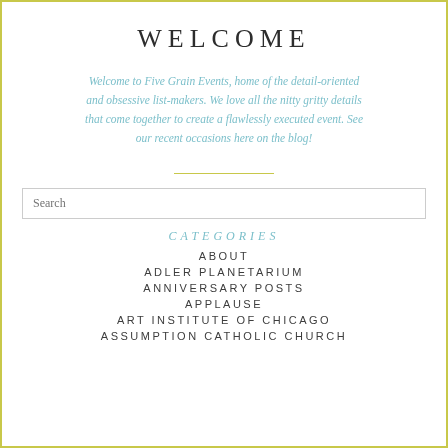WELCOME
Welcome to Five Grain Events, home of the detail-oriented and obsessive list-makers. We love all the nitty gritty details that come together to create a flawlessly executed event. See our recent occasions here on the blog!
CATEGORIES
ABOUT
ADLER PLANETARIUM
ANNIVERSARY POSTS
APPLAUSE
ART INSTITUTE OF CHICAGO
ASSUMPTION CATHOLIC CHURCH